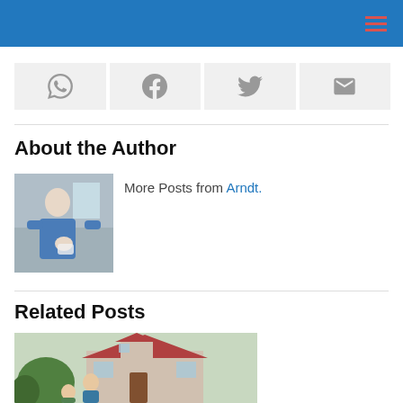[Figure (other): Social share buttons row: WhatsApp, Facebook, Twitter, Email icons]
About the Author
[Figure (photo): Author photo - man standing in a kitchen]
More Posts from Arndt.
Related Posts
[Figure (photo): Related post image - man near a house with plants]